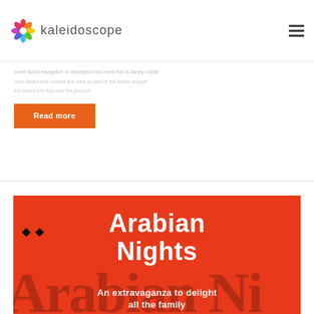Kaleidoscope
Read more
[Figure (illustration): Arabian Nights promotional image with red background, bold white text reading 'Arabian Nights' and subtitle 'An extravaganza to delight all the family', with decorative Arabic-style typography elements in dark shadow]